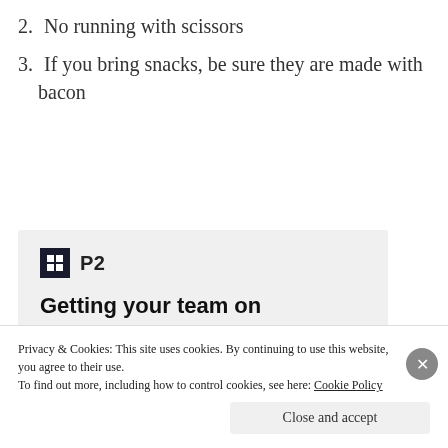2. No running with scissors
3. If you bring snacks, be sure they are made with bacon
[Figure (screenshot): P2 product advertisement showing logo, headline 'Getting your team on the same page is easy. And free.' and three avatar photos plus a blue plus button.]
Privacy & Cookies: This site uses cookies. By continuing to use this website, you agree to their use. To find out more, including how to control cookies, see here: Cookie Policy
Close and accept